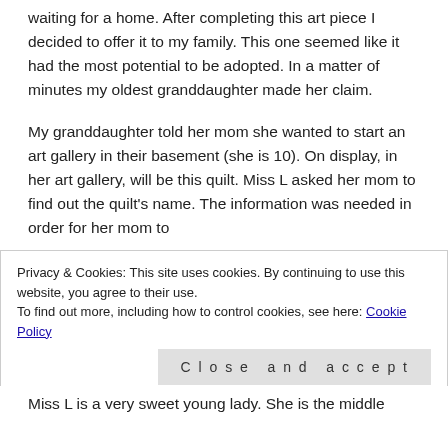waiting for a home. After completing this art piece I decided to offer it to my family. This one seemed like it had the most potential to be adopted. In a matter of minutes my oldest granddaughter made her claim.
My granddaughter told her mom she wanted to start an art gallery in their basement (she is 10). On display, in her art gallery, will be this quilt. Miss L asked her mom to find out the quilt's name. The information was needed in order for her mom to
Privacy & Cookies: This site uses cookies. By continuing to use this website, you agree to their use.
To find out more, including how to control cookies, see here: Cookie Policy
Miss L is a very sweet young lady. She is the middle